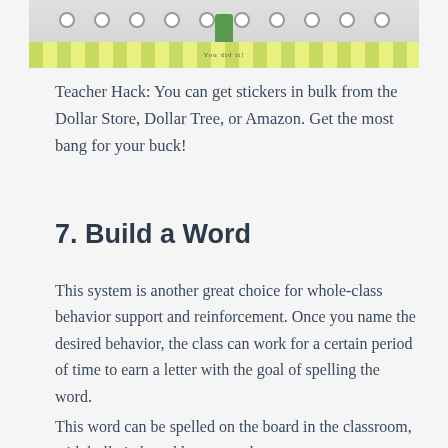[Figure (illustration): Partial view of a cactus-themed classroom behavior chart with dots/circles and a green chevron patterned strip at the bottom]
Teacher Hack: You can get stickers in bulk from the Dollar Store, Dollar Tree, or Amazon. Get the most bang for your buck!
7. Build a Word
This system is another great choice for whole-class behavior support and reinforcement. Once you name the desired behavior, the class can work for a certain period of time to earn a letter with the goal of spelling the word.
This word can be spelled on the board in the classroom, with bulletin board letters, or the